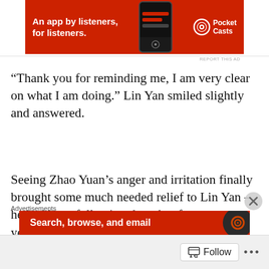[Figure (other): Pocket Casts advertisement banner — red background with white text 'An app by listeners, for listeners.' and phone image with Pocket Casts logo]
“Thank you for reminding me, I am very clear on what I am doing.” Lin Yan smiled slightly and answered.
Seeing Zhao Yuan’s anger and irritation finally brought some much needed relief to Lin Yan – he had been following the other for so many years, the epitome of loyalty and dedication, always putting Zhao Yuan first, and yet how did the other repay him?
A mere scandal on the Internet, and Zhao Yuan
Advertisements
[Figure (other): Pocket Casts advertisement banner — red background with white text 'Search, browse, and email' and dark circular logo on right]
Follow  •••